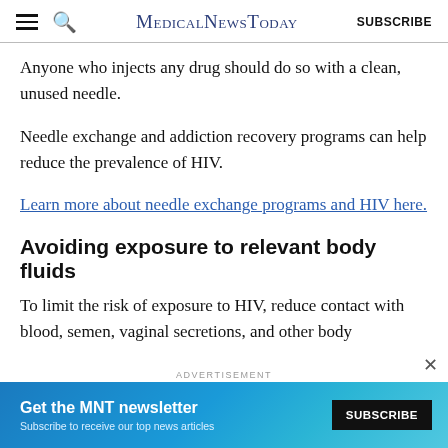MedicalNewsToday  SUBSCRIBE
Anyone who injects any drug should do so with a clean, unused needle.
Needle exchange and addiction recovery programs can help reduce the prevalence of HIV.
Learn more about needle exchange programs and HIV here.
Avoiding exposure to relevant body fluids
To limit the risk of exposure to HIV, reduce contact with blood, semen, vaginal secretions, and other body
[Figure (other): Advertisement banner: Get the MNT newsletter - Subscribe to receive our top news articles. SUBSCRIBE button on dark background, with globe graphic on blue background. Close (x) button visible.]